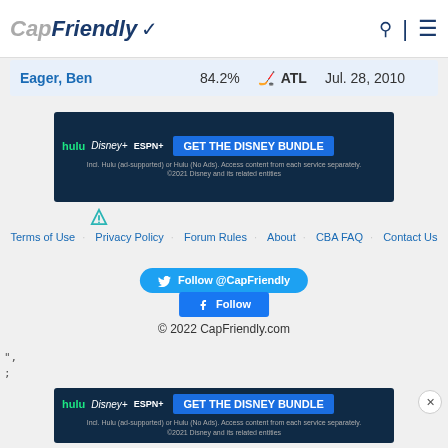CapFriendly
| Name | Pct | Team | Date |
| --- | --- | --- | --- |
| Eager, Ben | 84.2% | ATL | Jul. 28, 2010 |
[Figure (other): Disney Bundle advertisement banner: hulu, Disney+, ESPN+ logos with GET THE DISNEY BUNDLE button. Fine print: Incl. Hulu (ad-supported) or Hulu (No Ads). Access content from each service separately. ©2021 Disney and its related entities]
Terms of Use · Privacy Policy · Forum Rules · About · CBA FAQ · Contact Us
Follow @CapFriendly
Follow
© 2022 CapFriendly.com
",
;
[Figure (other): Disney Bundle advertisement banner (second instance): hulu, Disney+, ESPN+ logos with GET THE DISNEY BUNDLE button. Fine print: Incl. Hulu (ad-supported) or Hulu (No Ads). Access content from each service separately. ©2021 Disney and its related entities]